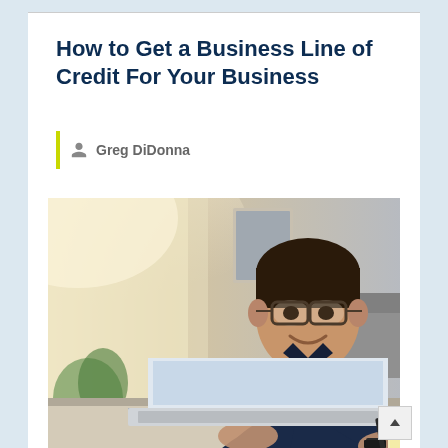How to Get a Business Line of Credit For Your Business
Greg DiDonna
[Figure (photo): A man with glasses wearing a dark navy blue shirt, sitting at a desk working on a laptop, smiling, with an office background. A notebook and pen are visible on the desk beside the laptop.]